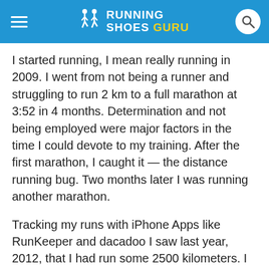RUNNING SHOES GURU
I started running, I mean really running in 2009. I went from not being a runner and struggling to run 2 km to a full marathon at 3:52 in 4 months. Determination and not being employed were major factors in the time I could devote to my training. After the first marathon, I caught it — the distance running bug. Two months later I was running another marathon.
Tracking my runs with iPhone Apps like RunKeeper and dacadoo I saw last year, 2012, that I had run some 2500 kilometers. I decided that this year I wanted to run at least 3000 km, which is about Zurich, Switzerland to Oulu, Finland or Jerusalem, Israel. Loving to run distances requires a lot of time